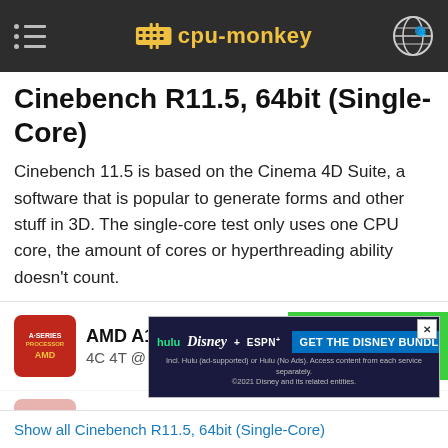cpu-monkey
Cinebench R11.5, 64bit (Single-Core)
Cinebench 11.5 is based on the Cinema 4D Suite, a software that is popular to generate forms and other stuff in 3D. The single-core test only uses one CPU core, the amount of cores or hyperthreading ability doesn't count.
AMD A10-6790K
4C 4T @ 4.10 GHz
1.09 (100%)
AMD A10-5800K
[Figure (screenshot): Disney Bundle advertisement banner showing Hulu, Disney+, and ESPN+ logos with 'GET THE DISNEY BUNDLE' call-to-action button]
Show all Cinebench R11.5, 64bit (Single-Core)